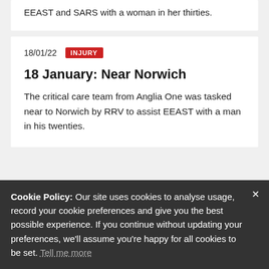EEAST and SARS with a woman in her thirties.
18/01/22  INJURY
18 January: Near Norwich
The critical care team from Anglia One was tasked near to Norwich by RRV to assist EEAST with a man in his twenties.
Cookie Policy: Our site uses cookies to analyse usage, record your cookie preferences and give you the best possible experience. If you continue without updating your preferences, we'll assume you're happy for all cookies to be set. Tell me more